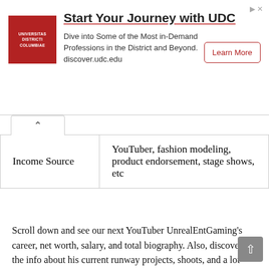[Figure (other): Advertisement banner for UDC (University of the District of Columbia) with logo, headline 'Start Your Journey with UDC', body text about in-demand professions, and a 'Learn More' button.]
| Income Source | YouTuber, fashion modeling, product endorsement, stage shows, etc |
Scroll down and see our next YouTuber UnrealEntGaming's career, net worth, salary, and total biography. Also, discover all the info about his current runway projects, shoots, and a lot more. Let's see the UnrealEntGaming Biography, UnrealEntGaming Net Worth in 2020-2021, and a lot more.
Read Also  Kurtis Conner Net Worth
UnrealEntGaming Biography Net Worth, Height, Age, Dating & more details